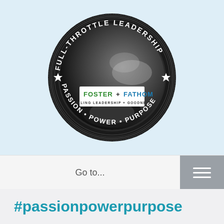[Figure (logo): Full-Throttle Leadership circular badge logo with motorcycle imagery. Text around the outer ring reads 'FULL-THROTTLE LEADERSHIP' at the top and 'PASSION • POWER • PURPOSE' at the bottom. Center shows 'FOSTER + FATHOM' and 'FUELING LEADERSHIP + GOODNESS'. Stars on left and right sides.]
Go to...
#passionpowerpurpose